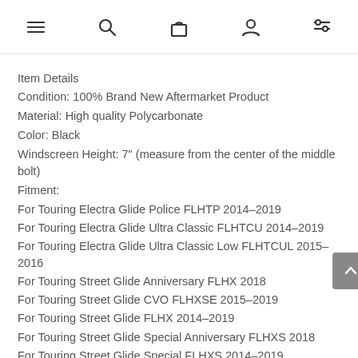Navigation bar with menu, search, cart, account, and filter icons
Item Details
Condition: 100% Brand New Aftermarket Product
Material: High quality Polycarbonate
Color: Black
Windscreen Height: 7" (measure from the center of the middle bolt)
Fitment:
For Touring Electra Glide Police FLHTP 2014–2019
For Touring Electra Glide Ultra Classic FLHTCU 2014–2019
For Touring Electra Glide Ultra Classic Low FLHTCUL 2015–2016
For Touring Street Glide Anniversary FLHX 2018
For Touring Street Glide CVO FLHXSE 2015–2019
For Touring Street Glide FLHX 2014–2019
For Touring Street Glide Special Anniversary FLHXS 2018
For Touring Street Glide Special FLHXS 2014–2019
For Touring Ultra Limited Anniversary FLHTK 2018
For Touring Ultra Limited CVO Anniversary FLHTKSE 2018
For Touring Ultra Limited CVO FLHTKSE 2014–2018